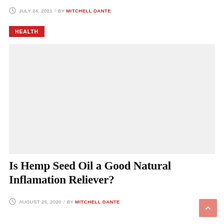JULY 24, 2021 / BY MITCHELL DANTE
HEALTH
[Figure (photo): Placeholder image area for a health article]
Is Hemp Seed Oil a Good Natural Inflamation Reliever?
AUGUST 25, 2020 / BY MITCHELL DANTE